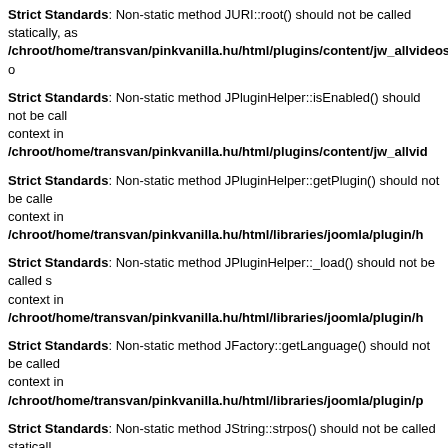Strict Standards: Non-static method JURI::root() should not be called statically, as /chroot/home/transvan/pinkvanilla.hu/html/plugins/content/jw_allvideos.php o
Strict Standards: Non-static method JPluginHelper::isEnabled() should not be called context in /chroot/home/transvan/pinkvanilla.hu/html/plugins/content/jw_allvid
Strict Standards: Non-static method JPluginHelper::getPlugin() should not be called context in /chroot/home/transvan/pinkvanilla.hu/html/libraries/joomla/plugin/h
Strict Standards: Non-static method JPluginHelper::_load() should not be called s context in /chroot/home/transvan/pinkvanilla.hu/html/libraries/joomla/plugin/h
Strict Standards: Non-static method JFactory::getLanguage() should not be called context in /chroot/home/transvan/pinkvanilla.hu/html/libraries/joomla/plugin/p
Strict Standards: Non-static method JString::strpos() should not be called statically /chroot/home/transvan/pinkvanilla.hu/html/plugins/content/emailcloak.php on
Strict Standards: Non-static method JString::strpos() should not be called statically /chroot/home/transvan/pinkvanilla.hu/html/plugins/content/emailcloak.php on
Strict Standards: Non-static method JFactory::getDBO() should not be called stati /chroot/home/transvan/pinkvanilla.hu/html/plugins/content/loadmodule.php o
Strict Standards: Non-static method JString::strpos() should not be called statically /chroot/home/transvan/pinkvanilla.hu/html/plugins/content/loadmodule.php o
Strict Standards: Non-static method JFactory::getApplication() should not be calle